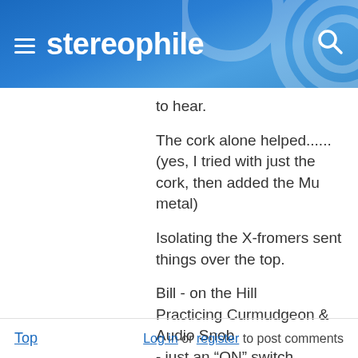stereophile
to hear.
The cork alone helped......(yes, I tried with just the cork, then added the Mu metal)
Isolating the X-fromers sent things over the top.
Bill - on the Hill
Practicing Curmudgeon & Audio Snob
- just an “ON” switch, Please –
Top    Log in or register to post comments